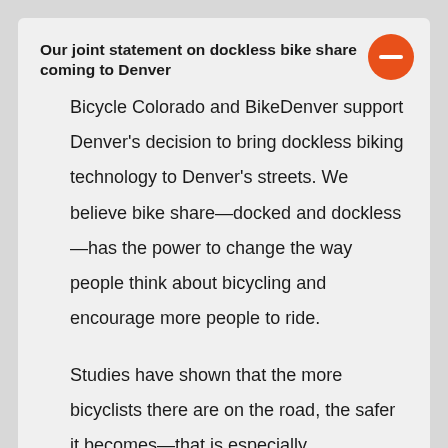Our joint statement on dockless bike share coming to Denver
Bicycle Colorado and BikeDenver support Denver's decision to bring dockless biking technology to Denver's streets. We believe bike share—docked and dockless—has the power to change the way people think about bicycling and encourage more people to ride.
Studies have shown that the more bicyclists there are on the road, the safer it becomes—that is especially